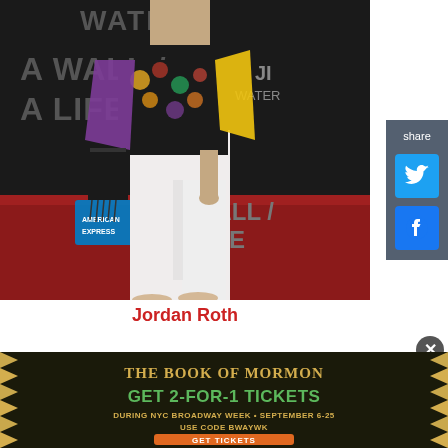[Figure (photo): Person standing on red carpet at 'A Wall / A Life' event backdrop with American Express and FIJI Water sponsorship logos, wearing colorful floral jacket, purple shawl, and white wide-leg pants with nude heels]
Jordan Roth
[Figure (photo): Advertisement for The Book of Mormon musical: 'GET 2-FOR-1 TICKETS DURING NYC BROADWAY WEEK • SEPTEMBER 6-25 USE CODE BWAYWK GET TICKETS']